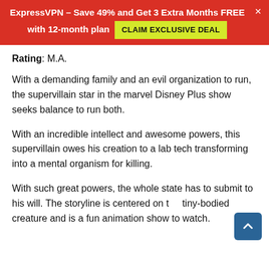ExpressVPN – Save 49% and Get 3 Extra Months FREE with 12-month plan  CLAIM EXCLUSIVE DEAL
Rating: M.A.
With a demanding family and an evil organization to run, the supervillain star in the marvel Disney Plus show seeks balance to run both.
With an incredible intellect and awesome powers, this supervillain owes his creation to a lab tech transforming into a mental organism for killing.
With such great powers, the whole state has to submit to his will. The storyline is centered on the tiny-bodied creature and is a fun animation show to watch.